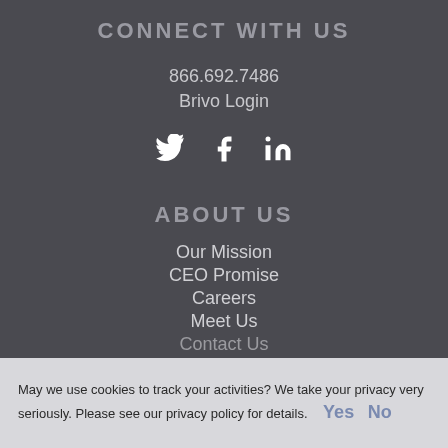CONNECT WITH US
866.692.7486
Brivo Login
[Figure (infographic): Social media icons: Twitter bird, Facebook f, LinkedIn in]
ABOUT US
Our Mission
CEO Promise
Careers
Meet Us
Contact Us
May we use cookies to track your activities? We take your privacy very seriously. Please see our privacy policy for details. Yes No